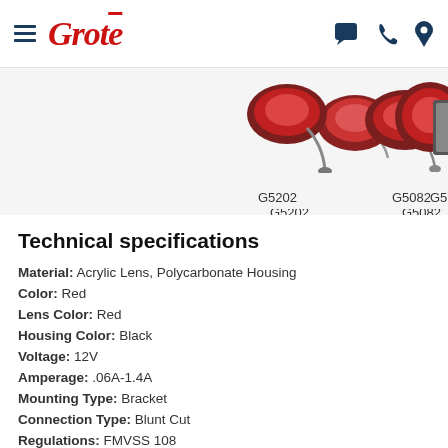Grote (logo) — navigation header with hamburger menu and icons
[Figure (photo): Product images of Grote marker lights: G5202 (red lens marker light with bracket), G5082 (red round marker light), G5: (partially visible, clipped)]
G5202   G5082   G5:
Technical specifications
Material: Acrylic Lens, Polycarbonate Housing
Color: Red
Lens Color: Red
Housing Color: Black
Voltage: 12V
Amperage: .06A-1.4A
Mounting Type: Bracket
Connection Type: Blunt Cut
Regulations: FMVSS 108